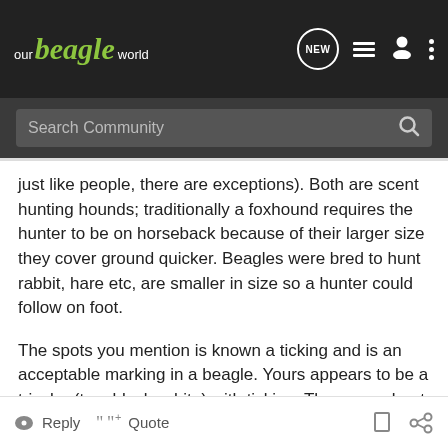our beagle world
Search Community
just like people, there are exceptions). Both are scent hunting hounds; traditionally a foxhound requires the hunter to be on horseback because of their larger size they cover ground quicker. Beagles were bred to hunt rabbit, hare etc, are smaller in size so a hunter could follow on foot.
The spots you mention is known a ticking and is an acceptable marking in a beagle. Yours appears to be a tricolor (tan, black, white) with ticking. There are about 25 different color combinations for a beagle, with 10 or so being the most common.
Reply  Quote